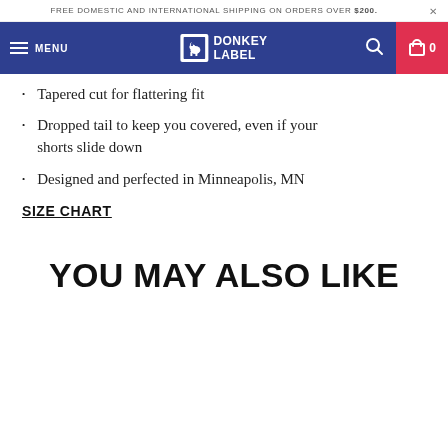FREE DOMESTIC AND INTERNATIONAL SHIPPING ON ORDERS OVER $200. ×
[Figure (screenshot): Donkey Label website navigation bar with hamburger menu, DONKEY LABEL logo, search icon, and cart icon showing 0 items]
Tapered cut for flattering fit
Dropped tail to keep you covered, even if your shorts slide down
Designed and perfected in Minneapolis, MN
SIZE CHART
YOU MAY ALSO LIKE